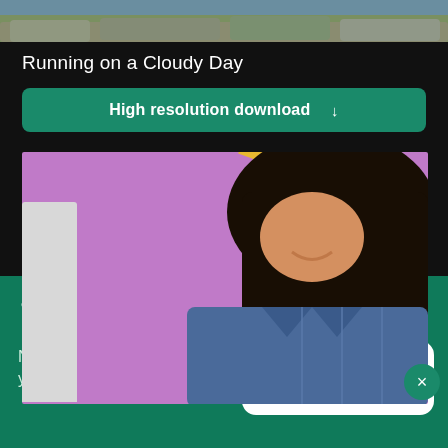[Figure (photo): Top strip of a photo showing rocky landscape near water]
Running on a Cloudy Day
High resolution download ↓
[Figure (photo): Woman with dark hair smiling, wearing a denim jacket, standing in front of a purple wall with a yellow graphic design. A white-shirted person is partially visible on the left.]
[Figure (logo): Shopify logo: shopping bag icon and the word 'shopify' in white on green background]
Need an online store for your business?
Start free trial